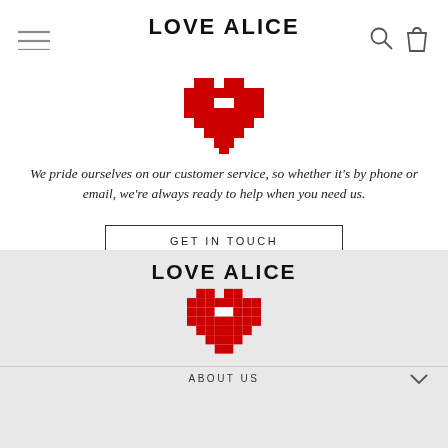LOVE ALICE
[Figure (logo): Pixel art red heart logo]
We pride ourselves on our customer service, so whether it's by phone or email, we're always ready to help when you need us.
GET IN TOUCH
LOVE ALICE
[Figure (logo): Pixel art red heart logo (footer)]
ABOUT US